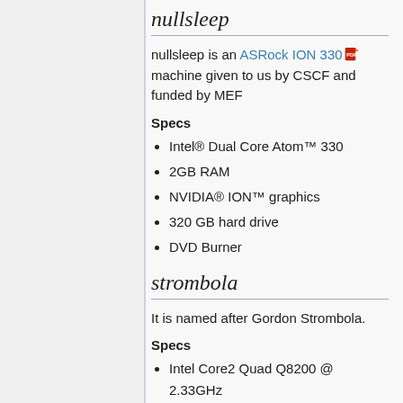nullsleep
nullsleep is an ASRock ION 330 machine given to us by CSCF and funded by MEF
Specs
Intel® Dual Core Atom™ 330
2GB RAM
NVIDIA® ION™ graphics
320 GB hard drive
DVD Burner
strombola
It is named after Gordon Strombola.
Specs
Intel Core2 Quad Q8200 @ 2.33GHz
4 GB RAM